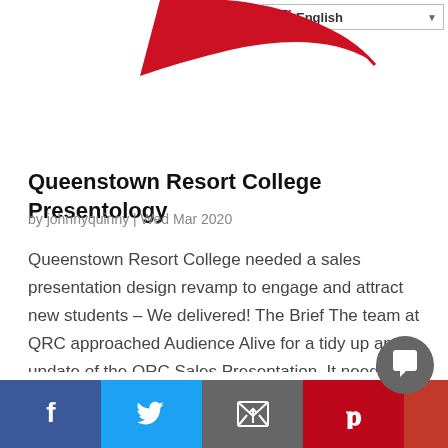[Figure (logo): Red swoosh/curve logo partially visible at top center, with English language selector dropdown in top right corner]
Queenstown Resort College Presentology
by johnnyquinny | Wed Mar 2020
Queenstown Resort College needed a sales presentation design revamp to engage and attract new students – We delivered! The Brief The team at QRC approached Audience Alive for a tidy up and update of the QRC Sales Presentation. It needed modernizing with a...
[Figure (infographic): Bottom social sharing bar with Facebook (blue), Twitter (light blue), Email (dark grey), Pinterest (red) buttons, plus an extra red section and a circular chat button]